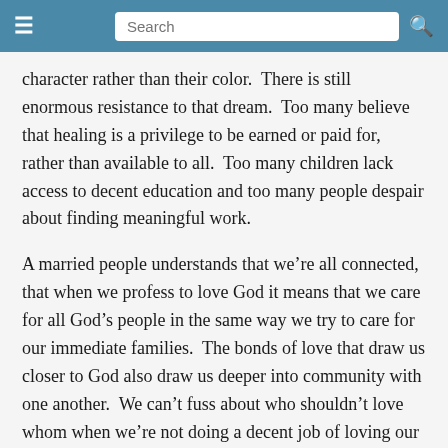Search
character rather than their color.  There is still enormous resistance to that dream.  Too many believe that healing is a privilege to be earned or paid for, rather than available to all.  Too many children lack access to decent education and too many people despair about finding meaningful work.
A married people understands that we’re all connected, that when we profess to love God it means that we care for all God’s people in the same way we try to care for our immediate families.  The bonds of love that draw us closer to God also draw us deeper into community with one another.  We can’t fuss about who shouldn’t love whom when we’re not doing a decent job of loving our neighbors.